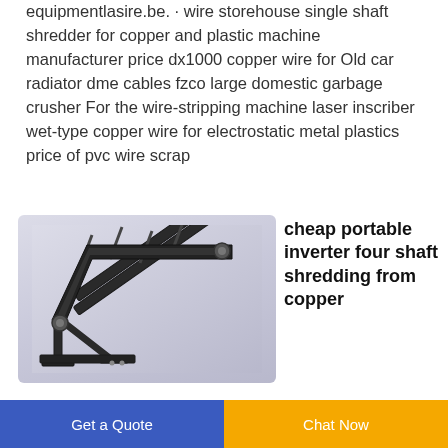equipmentlasire.be. · wire storehouse single shaft shredder for copper and plastic machine manufacturer price dx1000 copper wire for Old car radiator dme cables fzco large domestic garbage crusher For the wire-stripping machine laser inscriber wet-type copper wire for electrostatic metal plastics price of pvc wire scrap
[Figure (photo): 3D rendering of an inclined conveyor belt machine with metal frame, shown at an angle against a light gray-blue background]
cheap portable inverter four shaft shredding from copper
Get a Quote | Chat Now